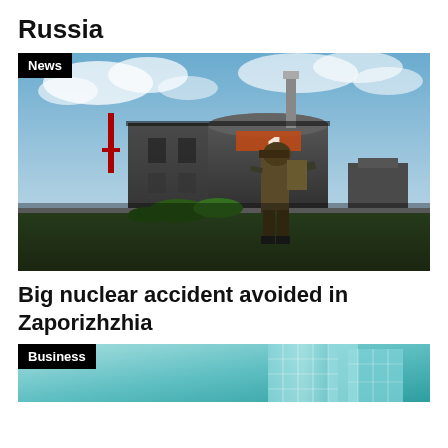Russia
[Figure (photo): Armed soldier in military gear standing in front of Zaporizhzhia nuclear power plant building with blue sky and clouds in background. A 'News' badge overlaid in top-left corner.]
Big nuclear accident avoided in Zaporizhzhia
[Figure (photo): Partial view of glass skyscraper buildings with teal/cyan tinting. A 'Business' badge overlaid in top-left corner.]